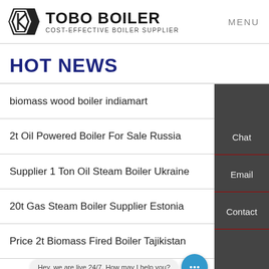TOBO BOILER — COST-EFFECTIVE BOILER SUPPLIER | MENU
HOT NEWS
biomass wood boiler indiamart
2t Oil Powered Boiler For Sale Russia
Supplier 1 Ton Oil Steam Boiler Ukraine
20t Gas Steam Boiler Supplier Estonia
Price 2t Biomass Fired Boiler Tajikistan
Automatic Biomass Steam Boiler
Hey, we are live 24/7. How may I help you?